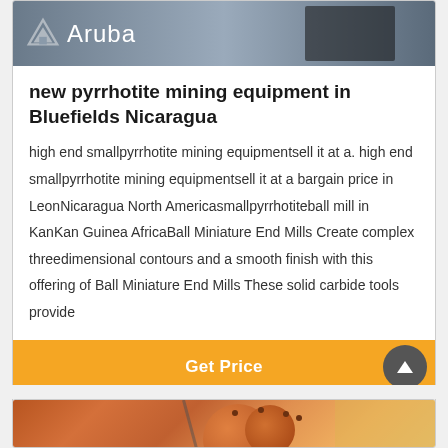[Figure (photo): Aruba logo with icon on dark industrial background, top portion of a product card]
new pyrrhotite mining equipment in Bluefields Nicaragua
high end smallpyrrhotite mining equipmentsell it at a. high end smallpyrrhotite mining equipmentsell it at a bargain price in LeonNicaragua North Americasmallpyrrhotiteball mill in KanKan Guinea AfricaBall Miniature End Mills Create complex threedimensional contours and a smooth finish with this offering of Ball Miniature End Mills These solid carbide tools provide
Get Price
[Figure (photo): Orange/rust colored ball mill industrial equipment, partially visible at bottom of page]